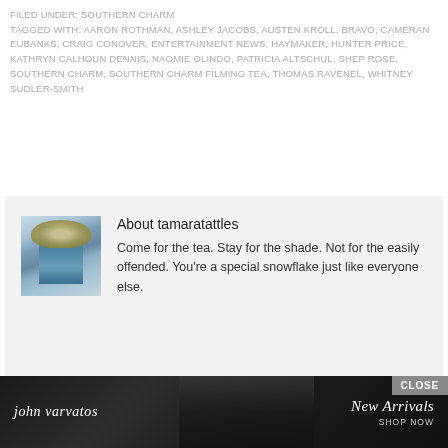FILED UNDER: SOUTHERN CHARM
TAGGED WITH: AARON ROTHMAN, ASHLEY JACOBS, AUSTEN KROLL, BRAVO, CAMERAN EUBANKS, CRAIG CONOVER, ENTERTAINMENT NEWS, HAYMAKER, HUNTER PRICE, KATHRYN CALHOUN DENNIS, NAOMIE OLINDO, PATRICIA ALTSCHUL, SHEP ROSE, SOUTHERN CHARM, SOUTHERN CHARM FILMING TEA, THOMAS RAVENEL, WHITNEY SUDLER-SMITH
[Figure (illustration): Painted portrait of a woman in a blue dress wearing a large decorative hat, used as an author avatar]
About tamaratattles
Come for the tea. Stay for the shade. Not for the easily offended. You're a special snowflake just like everyone else.
[Figure (photo): Advertisement banner for John Varvatos showing dark fashion photography with text 'john varvatos', 'New Arrivals', 'SHOP NOW' and a CLOSE button]